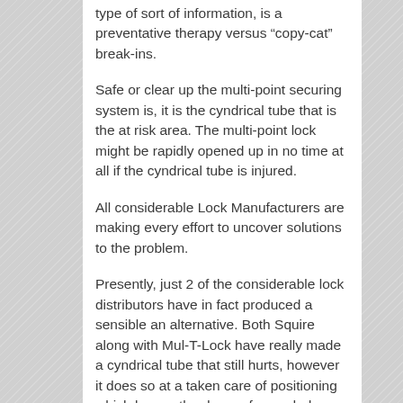type of sort of information, is a preventative therapy versus “copy-cat” break-ins.
Safe or clear up the multi-point securing system is, it is the cyndrical tube that is the at risk area. The multi-point lock might be rapidly opened up in no time at all if the cyndrical tube is injured.
All considerable Lock Manufacturers are making every effort to uncover solutions to the problem.
Presently, just 2 of the considerable lock distributors have in fact produced a sensible an alternative. Both Squire along with Mul-T-Lock have really made a cyndrical tube that still hurts, however it does so at a taken care of positioning which leaves the door safeguarded together with secure. Mul-T-Lock have in